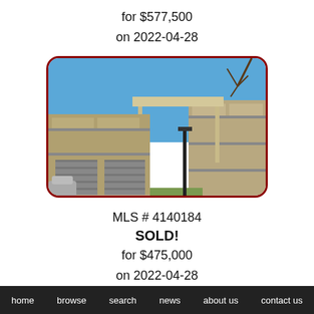for $577,500
on 2022-04-28
[Figure (photo): Exterior photo of a multi-unit residential townhouse complex with garages, balconies, and a lamppost in the foreground, clear blue sky.]
MLS # 4140184
SOLD!
for $475,000
on 2022-04-28
home   browse   search   news   about us   contact us